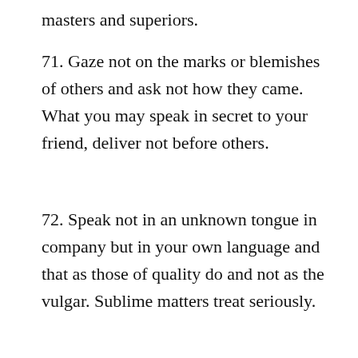masters and superiors.
71. Gaze not on the marks or blemishes of others and ask not how they came. What you may speak in secret to your friend, deliver not before others.
72. Speak not in an unknown tongue in company but in your own language and that as those of quality do and not as the vulgar. Sublime matters treat seriously.